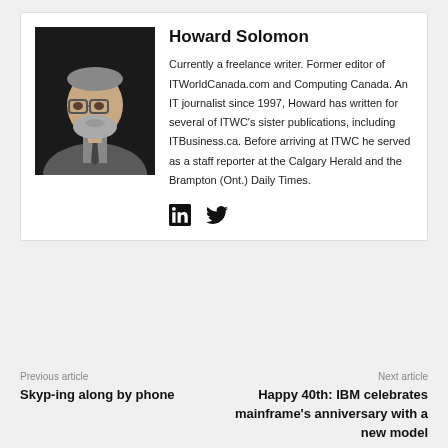[Figure (photo): Headshot of Howard Solomon, an older man with glasses and a grey beard, wearing a suit and tie, against a dark background]
Howard Solomon
Currently a freelance writer. Former editor of ITWorldCanada.com and Computing Canada. An IT journalist since 1997, Howard has written for several of ITWC's sister publications, including ITBusiness.ca. Before arriving at ITWC he served as a staff reporter at the Calgary Herald and the Brampton (Ont.) Daily Times.
[Figure (infographic): LinkedIn and Twitter social media icons]
Previous article
Skyp-ing along by phone
Next article
Happy 40th: IBM celebrates mainframe's anniversary with a new model